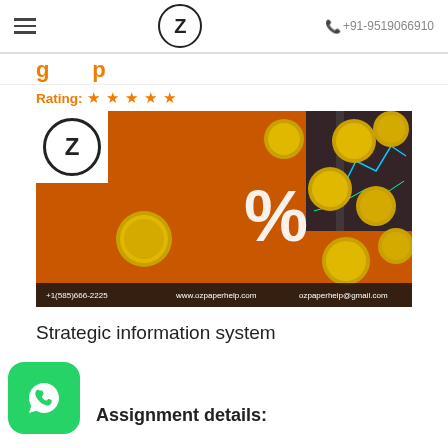Z  +91-9519066910
Strategic information system
Rating: ★★★★★
[Figure (photo): Orange background with gold coins and a white percent sign, plus a financial chart. Banner at bottom: +1(585)666-2225  www.ozpaperhelp.com  ozpaperhelp@gmail.com]
Strategic information system
Assignment details: